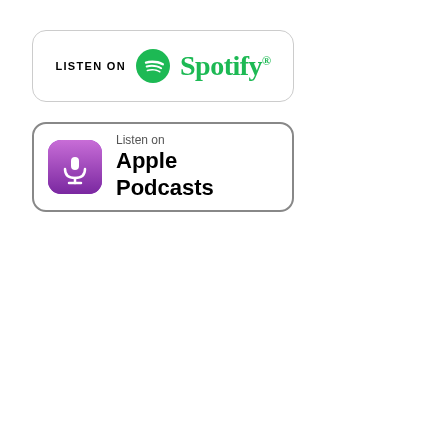[Figure (logo): Listen on Spotify badge — rounded rectangle with Spotify logo (green circle with white sound waves) and text 'LISTEN ON Spotify' in green]
[Figure (logo): Listen on Apple Podcasts badge — rounded rectangle with Apple Podcasts purple icon (microphone with signal arcs) and text 'Listen on Apple Podcasts']